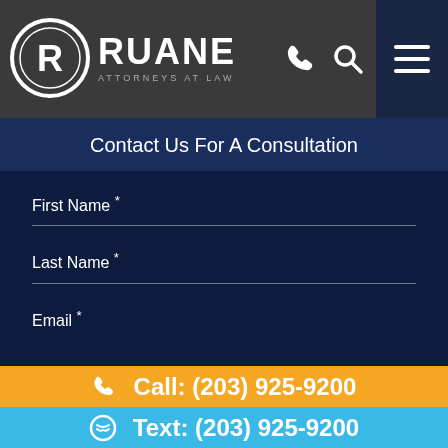[Figure (logo): Ruane Attorneys at Law logo — circular R emblem with RUANE in bold white text and ATTORNEYS AT LAW subtitle]
Contact Us For A Consultation
First Name *
Last Name *
Email *
Call: (203) 925-9200
Text: (203) 925-9200